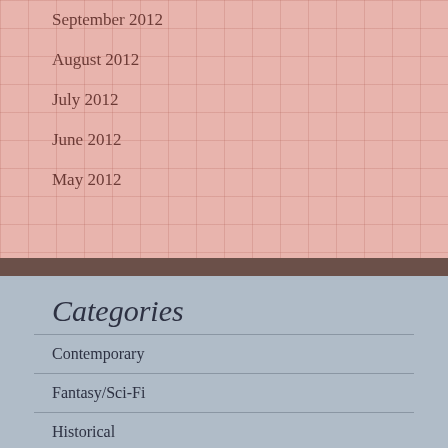September 2012
August 2012
July 2012
June 2012
May 2012
Categories
Contemporary
Fantasy/Sci-Fi
Historical